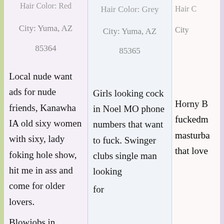Hair Color: Red (cropped at top)
City: Yuma, AZ
85364
Local nude want ads for nude friends, Kanawha IA old sixy women with sixy, lady foking hole show, hit me in ass and come for older lovers.
Blowjobs in wooddale (cropped at bottom)
Hair Color: Grey
City: Yuma, AZ
85365
Girls looking cock in Noel MO phone numbers that want to fuck. Swinger clubs single man looking for (cropped)
Hair C (cropped)
City (cropped)
Horny B fuckedm masturba that love (cropped)